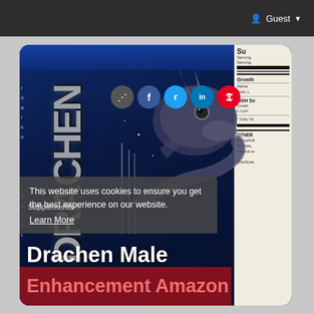Guest
[Figure (screenshot): Screenshot of a webpage showing a product image of Drachen Male Enhancement supplement with a dragon logo on a dark blue background. Social sharing icons (share, Facebook, Twitter, LinkedIn, Pinterest) are visible. A supplement facts panel is partially visible on the right side showing Growth Blend and HGH Secretion Blend with ingredients Alpha Acid, Ornithine, L-Lysine. A cookie consent notice is overlaid on the lower left. Below the product image overlaid text reads 'Drachen Male Enhancement Amazon' with 'Supplements' label visible.]
This website uses cookies to ensure you get the best experience on our website.
Learn More
Supplements
Drachen Male Enhancement Amazon